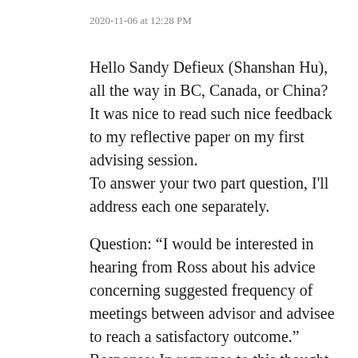2020-11-06 at 12:28 PM
Hello Sandy Defieux (Shanshan Hu), all the way in BC, Canada, or China? It was nice to read such nice feedback to my reflective paper on my first advising session.
To answer your two part question, I'll address each one separately.
Question: “I would be interested in hearing from Ross about his advice concerning suggested frequency of meetings between advisor and advisee to reach a satisfactory outcome.”
Response: In response to this thought provoking questions, I would say it would